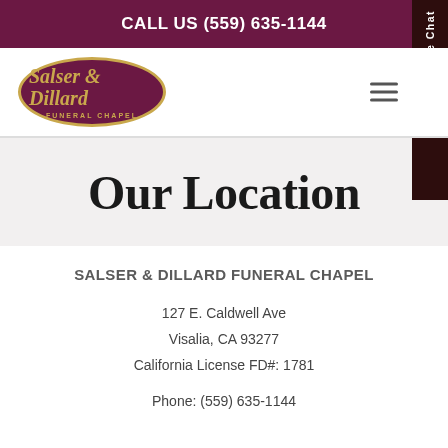CALL US (559) 635-1144
[Figure (logo): Salser & Dillard Funeral Chapel oval logo with gold border on dark maroon background]
Our Location
SALSER & DILLARD FUNERAL CHAPEL
127 E. Caldwell Ave
Visalia, CA 93277
California License FD#: 1781
Phone: (559) 635-1144